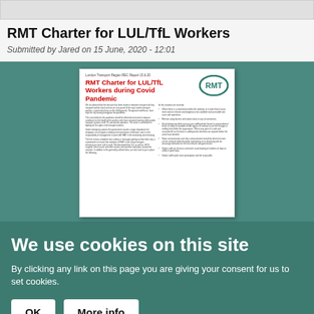RMT Charter for LUL/TfL Workers
Submitted by Jared on 15 June, 2020 - 12:01
[Figure (screenshot): Blurred thumbnail of the RMT Charter for LUL/TfL Workers during Covid Pandemic document, showing red bold title text, RMT logo, and two columns of body text with bullet points.]
We use cookies on this site
By clicking any link on this page you are giving your consent for us to set cookies.
OK  More info